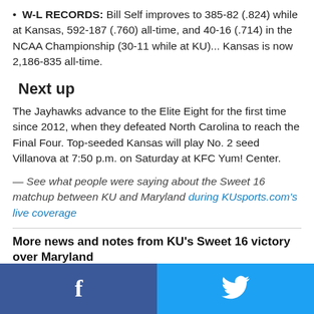W-L RECORDS: Bill Self improves to 385-82 (.824) while at Kansas, 592-187 (.760) all-time, and 40-16 (.714) in the NCAA Championship (30-11 while at KU)... Kansas is now 2,186-835 all-time.
Next up
The Jayhawks advance to the Elite Eight for the first time since 2012, when they defeated North Carolina to reach the Final Four. Top-seeded Kansas will play No. 2 seed Villanova at 7:50 p.m. on Saturday at KFC Yum! Center.
— See what people were saying about the Sweet 16 matchup between KU and Maryland during KUsports.com's live coverage
More news and notes from KU's Sweet 16 victory over Maryland
[Figure (other): Social media share bar with Facebook (blue, left) and Twitter (light blue, right) buttons]